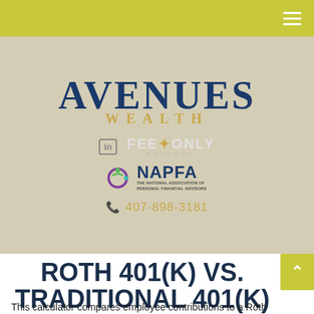[Figure (logo): Avenues Wealth company logo with 'AVENUES' in large dark blue serif text and 'WEALTH' in gold spaced letters below, on a tan/beige background. Also shows LinkedIn badge, Fee-Only Network logo, NAPFA (The National Association of Personal Financial Advisors) logo, and phone number 407-898-3181 in gold.]
ROTH 401(K) VS. TRADITIONAL 401(K)
This calculator compares employee contributions to a Roth